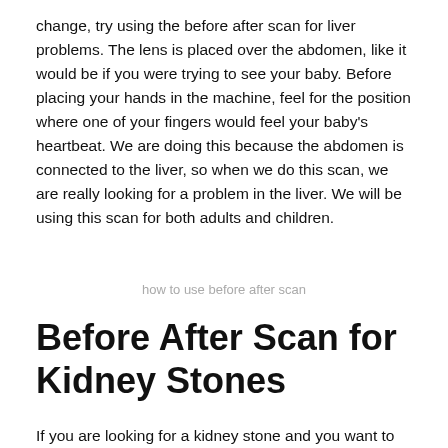change, try using the before after scan for liver problems. The lens is placed over the abdomen, like it would be if you were trying to see your baby. Before placing your hands in the machine, feel for the position where one of your fingers would feel your baby's heartbeat. We are doing this because the abdomen is connected to the liver, so when we do this scan, we are really looking for a problem in the liver. We will be using this scan for both adults and children.
how to use before after scan
Before After Scan for Kidney Stones
If you are looking for a kidney stone and you want to get rid of the blockage, then the best way is using this before after